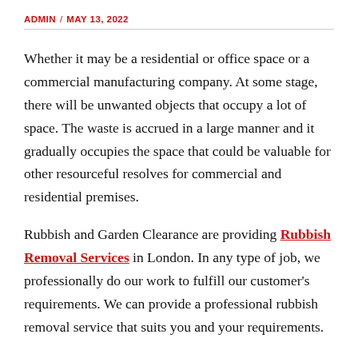ADMIN / MAY 13, 2022
Whether it may be a residential or office space or a commercial manufacturing company. At some stage, there will be unwanted objects that occupy a lot of space. The waste is accrued in a large manner and it gradually occupies the space that could be valuable for other resourceful resolves for commercial and residential premises.
Rubbish and Garden Clearance are providing Rubbish Removal Services in London. In any type of job, we professionally do our work to fulfill our customer's requirements. We can provide a professional rubbish removal service that suits you and your requirements.